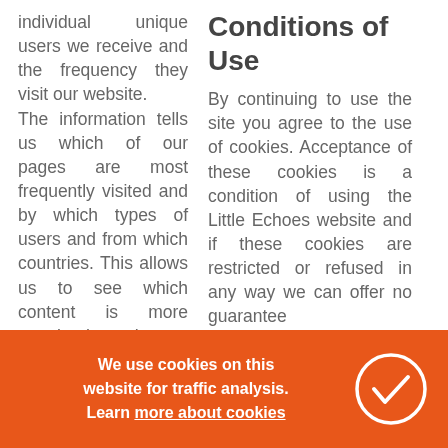individual unique users we receive and the frequency they visit our website. The information tells us which of our pages are most frequently visited and by which types of users and from which countries. This allows us to see which content is more popular than others. We use Google Analytics. We use pass input
Conditions of Use
By continuing to use the site you agree to the use of cookies. Acceptance of these cookies is a condition of using the Little Echoes website and if these cookies are restricted or refused in any way we can offer no guarantee
We use cookies on this website for traffic analysis. Learn more about cookies